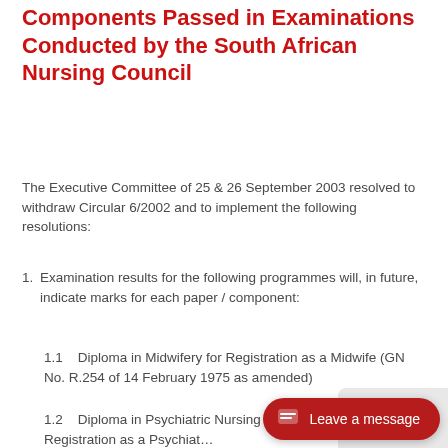Components Passed in Examinations Conducted by the South African Nursing Council
The Executive Committee of 25 & 26 September 2003 resolved to withdraw Circular 6/2002 and to implement the following resolutions:
1. Examination results for the following programmes will, in future, indicate marks for each paper / component:
1.1    Diploma in Midwifery for Registration as a Midwife (GN No. R.254 of 14 February 1975 as amended)
1.2    Diploma in Psychiatric Nursing for Registration as a Psychiatric... of 2 May 1975 as amended)